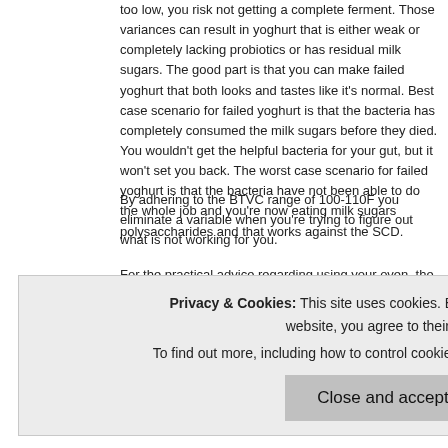too low, you risk not getting a complete ferment. Those variances can result in yoghurt that is either weak or completely lacking probiotics or has residual milk sugars. The good part is that you can make failed yoghurt that both looks and tastes like it's normal. Best case scenario for failed yoghurt is that the bacteria has completely consumed the milk sugars before they died. You wouldn't get the helpful bacteria for your gut, but it won't set you back. The worst case scenario for failed yoghurt is that the bacteria have not been able to do the whole job and you're now eating milk sugars polysaccharides and that works against the SCD.
By adhering to the BTVC range of 100-110F you eliminate a variable when you're trying to figure out what is not working for you.
For the practical advice regarding using your oven, the first thing I'd urge you to do is confirm the readings of your oven probe. My last oven came with a probe and when I first used it, it was 40 degrees off. They replaced a control board and it was still off. I haven't used it since.
worth the trouble of figuring it out.
Privacy & Cookies: This site uses cookies. By continuing to use this website, you agree to their use. To find out more, including how to control cookies, see here: Cookie Policy